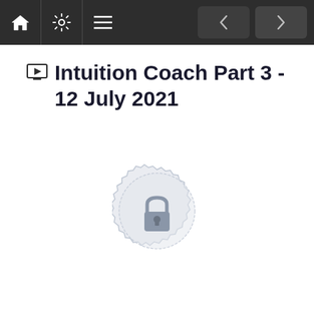Navigation bar with home, settings, menu icons and prev/next buttons
Intuition Coach Part 3 - 12 July 2021
[Figure (illustration): A locked padlock icon centered inside a decorative circular badge/seal shape, rendered in light gray, indicating locked/restricted content]